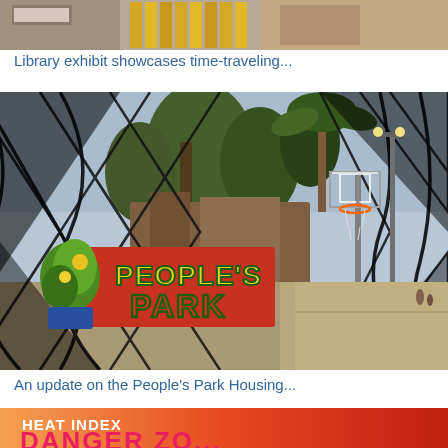[Figure (photo): Partial view of a library exhibit with books and yellow objects on shelves]
Library exhibit showcases time-traveling...
[Figure (photo): People's Park viewed through a chain-link fence, showing a colorful mural with 'PEOPLE'S PARK' text, trees, basketball hoop, and open space]
An update on the People's Park Housing...
[Figure (photo): Heat Index graphic with text 'HEAT INDEX' and partial text below in pink/red on orange-red background]